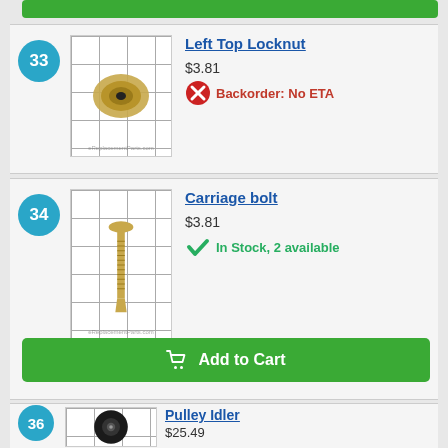[Figure (photo): Green Add to Cart button at top of page]
33 Left Top Locknut $3.81 Backorder: No ETA
[Figure (photo): Left Top Locknut - brass locknut against grid background]
34 Carriage bolt $3.81 In Stock, 2 available
[Figure (photo): Carriage bolt - brass carriage bolt against grid background]
[Figure (screenshot): Add to Cart button - green button with cart icon]
36 Pulley Idler $25.49 Backorder: No ETA